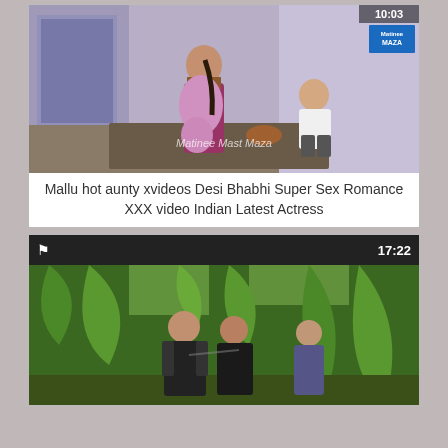[Figure (screenshot): Video thumbnail showing an indoor scene with a woman in a saree and a man kneeling, with watermark 'Matinee Mast Maza' and logo badge, duration shown at top]
Mallu hot aunty xvideos Desi Bhabhi Super Sex Romance XXX video Indian Latest Actress
[Figure (screenshot): Video thumbnail showing an outdoor jungle/banana plant scene with people, duration 17:22 shown at top right, flag icon at top left]